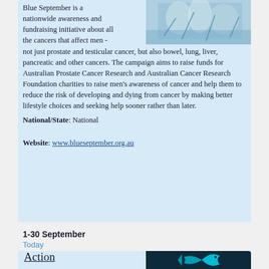[Figure (photo): Group of people with blue ribbons/body paint, Blue September awareness campaign image]
Blue September is a nationwide awareness and fundraising initiative about all the cancers that affect men - not just prostate and testicular cancer, but also bowel, lung, liver, pancreatic and other cancers. The campaign aims to raise funds for Australian Prostate Cancer Research and Australian Cancer Research Foundation charities to raise men's awareness of cancer and help them to reduce the risk of developing and dying from cancer by making better lifestyle choices and seeking help sooner rather than later. National/State: National

Website: www.blueseptember.org.au
1-30 September
Today
[Figure (logo): Dark blue background with cyan/turquoise dolphin or fish logo for Debris Month of Action]
Debris Month of Action